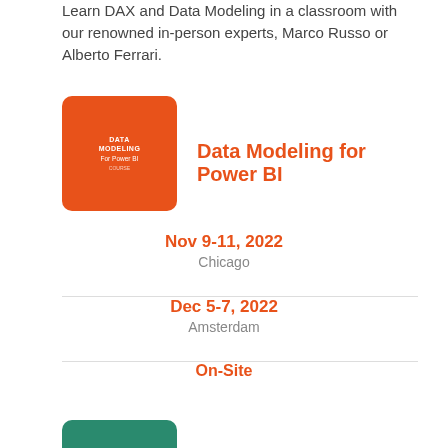Learn DAX and Data Modeling in a classroom with our renowned in-person experts, Marco Russo or Alberto Ferrari.
[Figure (logo): Orange rounded square logo with text DATA MODELING For Power BI]
Data Modeling for Power BI
Nov 9-11, 2022
Chicago
Dec 5-7, 2022
Amsterdam
On-Site
[Figure (logo): Green rounded square logo with text MASTERING DAX Workshop]
Mastering DAX Workshop
Aug 29-31, 2022
Munich